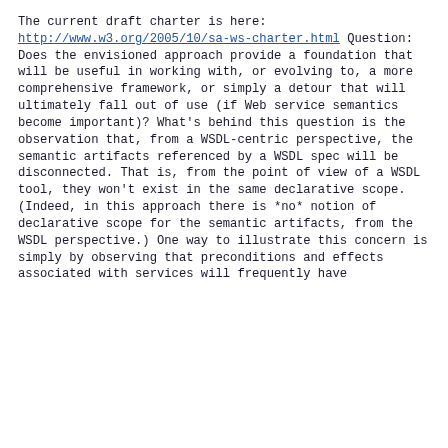The current draft charter is here:
    http://www.w3.org/2005/10/sa-ws-charter.html

Question:
      Does the envisioned approach provide a foundation that will be
      useful in working with, or evolving to, a more comprehensive
      framework, or simply a detour that will ultimately fall out of use
      (if Web service semantics become important)?

What's behind this question is the observation that, from a WSDL-centric
perspective, the semantic artifacts referenced by a WSDL spec will be
disconnected.  That is, from the point of view of a WSDL tool, they
won't exist in the same declarative scope. (Indeed, in this approach
there is *no* notion of declarative scope for the semantic artifacts,
from the WSDL perspective.)

One way to illustrate this concern is simply by observing that
preconditions and effects associated with services will frequently have